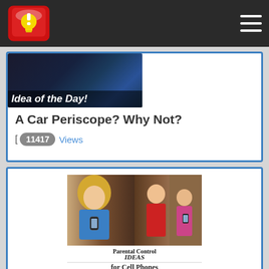Idea of the Day! [logo and navigation bar]
A Car Periscope? Why Not?
[ 11417 Views
[Figure (photo): Parental Control IDEAS for Cell Phones - photo of woman texting while driving and man yelling at teenager]
4 Cell Phone Parental Control Ideas Your Kids are Guaranteed to Hate.
[ 10924 Views